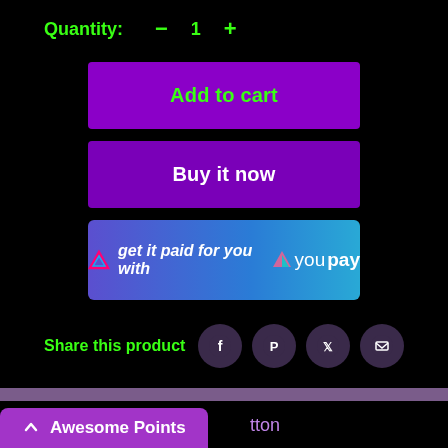Quantity: — 1 +
Add to cart
Buy it now
[Figure (other): YouPay promotional button: 'get it paid for you with YouPay' on a blue-purple gradient background with YouPay logo]
Share this product
[Figure (other): Social share icons: Facebook, Pinterest, Twitter, Email — dark circular buttons]
Description
Awesome Points  ...tton